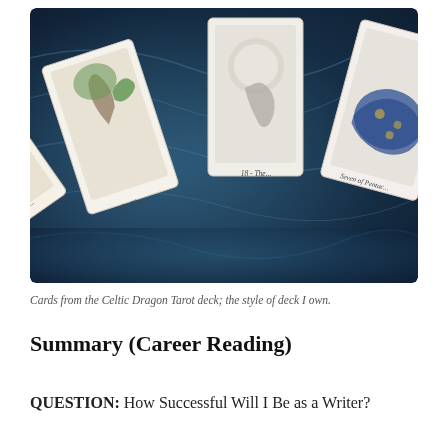[Figure (photo): A fan of four tarot cards from the Celtic Dragon Tarot deck spread out on a dark blue textured background. The cards depict various dragon-themed fantasy illustrations. Visible card labels at the bottom include 'Two of...', '9 - The...', '18 - The...', and 'Seven of Pentacles'.]
Cards from the Celtic Dragon Tarot deck; the style of deck I own.
Summary (Career Reading)
QUESTION: How Successful Will I Be as a Writer?